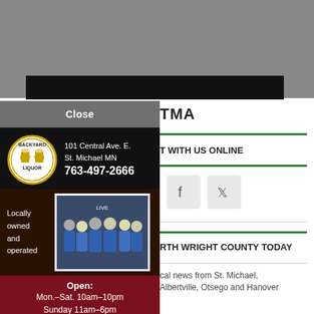[Figure (photo): Partial webpage screenshot showing a person outdoors with a black bar overlay, partially covered by a modal advertisement popup for Backyard Liquor]
TMA
CONNECT WITH US ONLINE
[Figure (other): Facebook and Twitter social media icon boxes]
RTH WRIGHT COUNTY TODAY
cal news from St. Michael, Albertville, Otsego and Hanover
Close
[Figure (advertisement): Backyard Liquor advertisement popup. Address: 101 Central Ave. E., St. Michael MN. Phone: 763-497-2666. Locally owned and operated. Open: Mon.–Sat. 10am–10pm, Sunday 11am–6pm. Website: backyardliquor.com. Follow us on Facebook.]